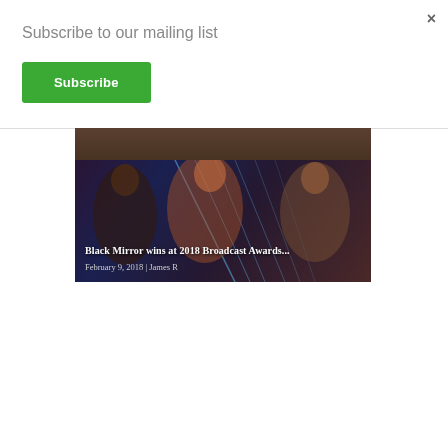×
Subscribe to our mailing list
Subscribe
[Figure (photo): Article thumbnail showing a dark scene with date August 8, 2018 | James R]
[Figure (photo): Two women smiling at a party with laser lights in the background]
Black Mirror wins at 2018 Broadcast Awards...
February 9, 2018 | James R